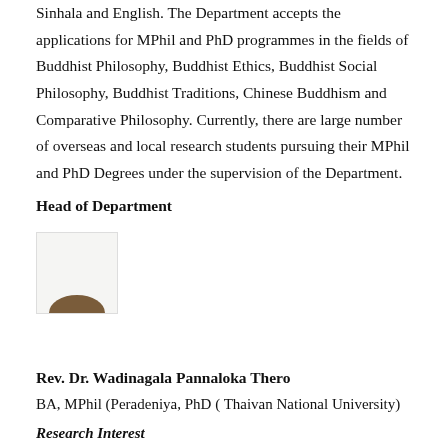Sinhala and English. The Department accepts the applications for MPhil and PhD programmes in the fields of Buddhist Philosophy, Buddhist Ethics, Buddhist Social Philosophy, Buddhist Traditions, Chinese Buddhism and Comparative Philosophy. Currently, there are large number of overseas and local research students pursuing their MPhil and PhD Degrees under the supervision of the Department.
Head of Department
[Figure (photo): Partial photograph showing a person, mostly obscured, with only the top of their head visible showing dark hair.]
Rev. Dr. Wadinagala Pannaloka Thero
BA, MPhil (Peradeniya, PhD ( Thaivan National University)
Research Interest